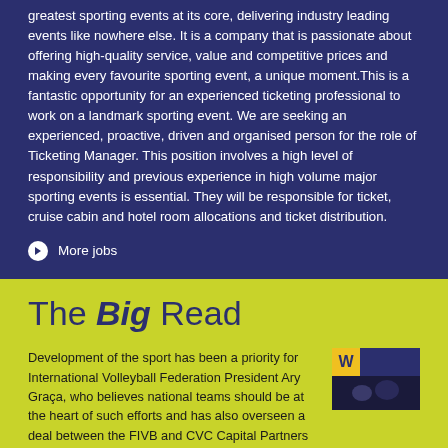greatest sporting events at its core, delivering industry leading events like nowhere else. It is a company that is passionate about offering high-quality service, value and competitive prices and making every favourite sporting event, a unique moment.This is a fantastic opportunity for an experienced ticketing professional to work on a landmark sporting event. We are seeking an experienced, proactive, driven and organised person for the role of Ticketing Manager. This position involves a high level of responsibility and previous experience in high volume major sporting events is essential. They will be responsible for ticket, cruise cabin and hotel room allocations and ticket distribution.
More jobs
The Big Read
Development of the sport has been a priority for International Volleyball Federation President Ary Graça, who believes national teams should be at the heart of such efforts and has also overseen a deal between the FIVB and CVC Capital Partners which proponents say is "transformative" for volleyball. Mike Rowbottom reports.
Read more
Big Read Archive